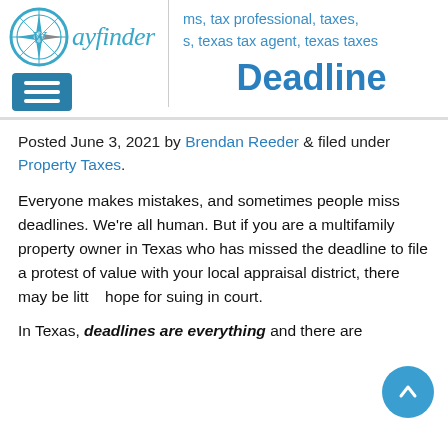Wayfinder — ms, tax professional, taxes, s, texas tax agent, texas taxes
Deadline
Posted June 3, 2021 by Brendan Reeder & filed under Property Taxes.
Everyone makes mistakes, and sometimes people miss deadlines. We're all human. But if you are a multifamily property owner in Texas who has missed the deadline to file a protest of value with your local appraisal district, there may be little hope for suing in court.
In Texas, deadlines are everything and there are